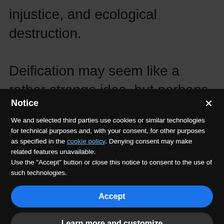injustice, and ecological destruction. Deification may seem like a rather strange idea, but perhaps one way of thinking about it is to realize that the Spirit can help us to see things from the
Notice
We and selected third parties use cookies or similar technologies for technical purposes and, with your consent, for other purposes as specified in the cookie policy. Denying consent may make related features unavailable.
Use the "Accept" button or close this notice to consent to the use of such technologies.
Accept
Learn more and customize